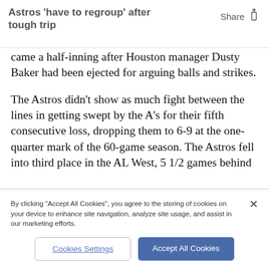Astros 'have to regroup' after tough trip
came a half-inning after Houston manager Dusty Baker had been ejected for arguing balls and strikes.
The Astros didn't show as much fight between the lines in getting swept by the A's for their fifth consecutive loss, dropping them to 6-9 at the one-quarter mark of the 60-game season. The Astros fell into third place in the AL West, 5 1/2 games behind
By clicking "Accept All Cookies", you agree to the storing of cookies on your device to enhance site navigation, analyze site usage, and assist in our marketing efforts.